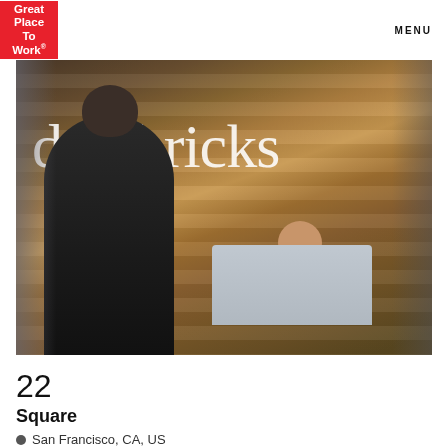[Figure (logo): Great Place To Work logo — white text on red square background]
MENU
[Figure (photo): Photo of a man with dark jacket standing at the Databricks office reception desk, with a smiling woman receptionist behind the desk and a wooden wall with the 'databricks' logo in white letters behind them]
22
Square
San Francisco, CA, US